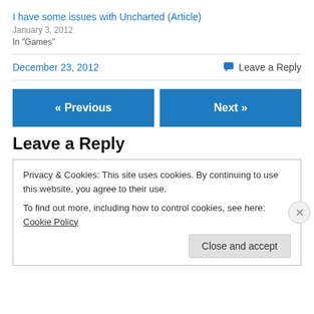I have some issues with Uncharted (Article)
January 3, 2012
In "Games"
December 23, 2012   Leave a Reply
« Previous   Next »
Leave a Reply
Privacy & Cookies: This site uses cookies. By continuing to use this website, you agree to their use.
To find out more, including how to control cookies, see here: Cookie Policy
Close and accept